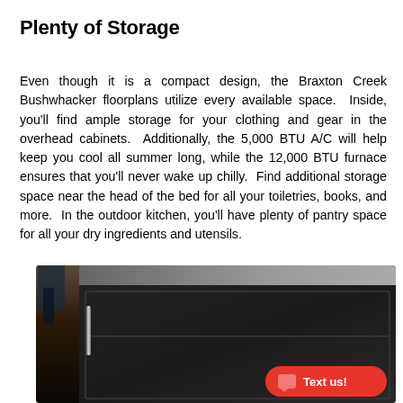Plenty of Storage
Even though it is a compact design, the Braxton Creek Bushwhacker floorplans utilize every available space.  Inside, you'll find ample storage for your clothing and gear in the overhead cabinets.  Additionally, the 5,000 BTU A/C will help keep you cool all summer long, while the 12,000 BTU furnace ensures that you'll never wake up chilly.  Find additional storage space near the head of the bed for all your toiletries, books, and more.  In the outdoor kitchen, you'll have plenty of pantry space for all your dry ingredients and utensils.
[Figure (photo): Interior photo showing dark wood overhead cabinets in an RV or camper trailer. The cabinets are dark espresso/black colored with panel door styling. The left side shows flooring and a wall in dark tones. A 'Text us!' button overlay is visible in the lower right corner.]